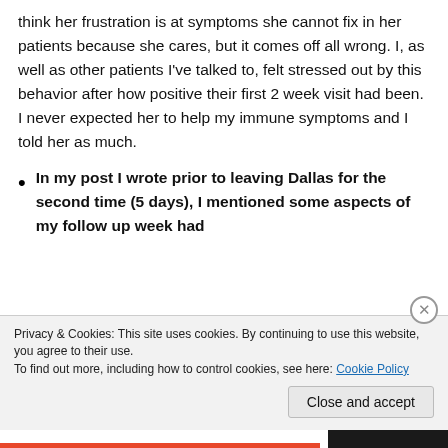think her frustration is at symptoms she cannot fix in her patients because she cares, but it comes off all wrong. I, as well as other patients I've talked to, felt stressed out by this behavior after how positive their first 2 week visit had been. I never expected her to help my immune symptoms and I told her as much.
In my post I wrote prior to leaving Dallas for the second time (5 days), I mentioned some aspects of my follow up week had
Privacy & Cookies: This site uses cookies. By continuing to use this website, you agree to their use.
To find out more, including how to control cookies, see here: Cookie Policy
Close and accept